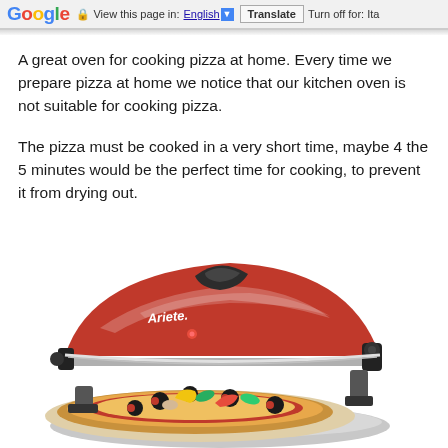Google  View this page in: English [▼]  Translate  Turn off for: Ita
A great oven for cooking pizza at home. Every time we prepare pizza at home we notice that our kitchen oven is not suitable for cooking pizza.
The pizza must be cooked in a very short time, maybe 4 the 5 minutes would be the perfect time for cooking, to prevent it from drying out.
[Figure (photo): Photo of an Ariete branded red pizza oven with its lid open, with a topped pizza (black olives, bell peppers, zucchini, mushrooms) sitting on the stone plate below it.]